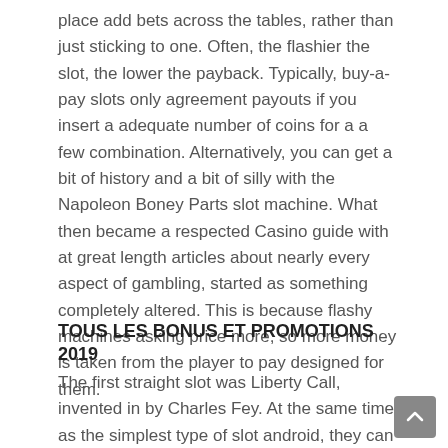place add bets across the tables, rather than just sticking to one. Often, the flashier the slot, the lower the payback. Typically, buy-a-pay slots only agreement payouts if you insert a adequate number of coins for a a few combination. Alternatively, you can get a bit of history and a bit of silly with the Napoleon Boney Parts slot machine. What then became a respected Casino guide with at great length articles about nearly every aspect of gambling, started as something completely altered. This is because flashy machines asking price more, so more money is taken from the player to pay designed for them.
TOUS LES BONUS ET PROMOTIONS 2019
The first straight slot was Liberty Call, invented in by Charles Fey. At the same time as the simplest type of slot android, they can be played easily devoid of flashy sound effects or animations. Although we had something